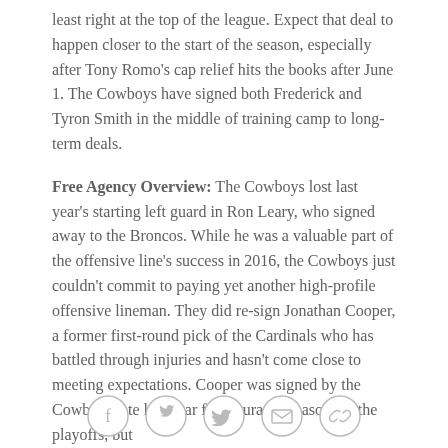least right at the top of the league. Expect that deal to happen closer to the start of the season, especially after Tony Romo's cap relief hits the books after June 1. The Cowboys have signed both Frederick and Tyron Smith in the middle of training camp to long-term deals.
Free Agency Overview: The Cowboys lost last year's starting left guard in Ron Leary, who signed away to the Broncos. While he was a valuable part of the offensive line's success in 2016, the Cowboys just couldn't commit to paying yet another high-profile offensive lineman. They did re-sign Jonathan Cooper, a former first-round pick of the Cardinals who has battled through injuries and hasn't come close to meeting expectations. Cooper was signed by the Cowboys late last year for insurance reasons in the playoffs, but
[Figure (other): Social sharing icons: Facebook, Twitter, Email, Link]